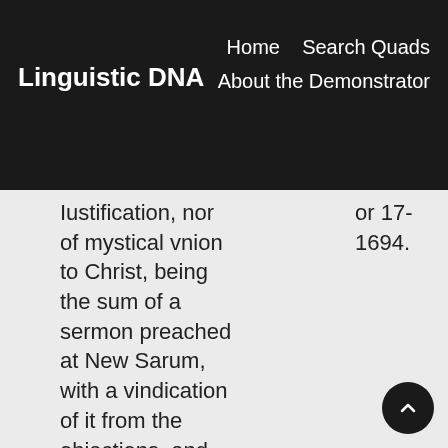Linguistic DNA   Home   Search Quads   About the Demonstrator
Iustification, nor of mystical vnion to Christ, being the sum of a sermon preached at New Sarum, with a vindication of it from the objections, and calumniations cast upon it by Mr. William Eyre, in his Vindiciae justificationis. Together with
or 17-1694.